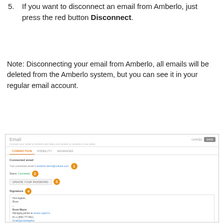5. If you want to disconnect an email from Amberlo, just press the red button Disconnect.
Note: Disconnecting your email from Amberlo, all emails will be deleted from the Amberlo system, but you can see it in your regular email account.
[Figure (screenshot): Screenshot of Amberlo Email settings panel showing Connection tab with Connected email field (amberlo.demo@outlook.com), Status: Connected, UPDATE YOUR PASSWORD button, and Signature section with a sample signature for Bruce Wayne at Justice League. Numbered orange badges 1-4 label key UI elements.]